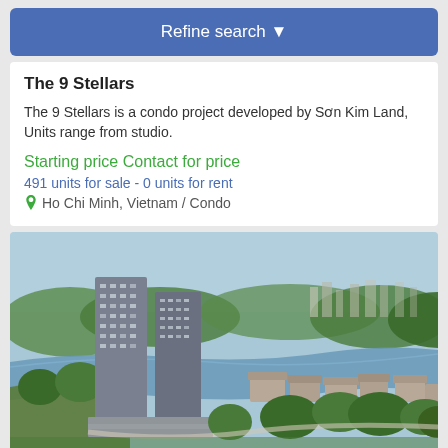Refine search ▾
The 9 Stellars
The 9 Stellars is a condo project developed by Sơn Kim Land, Units range from studio.
Starting price Contact for price
491 units for sale - 0 units for rent
Ho Chi Minh, Vietnam / Condo
[Figure (photo): Aerial view of The 9 Stellars condo high-rise towers surrounded by trees and a river in Ho Chi Minh City, Vietnam]